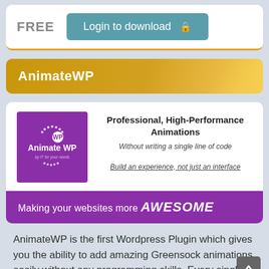FREE
Login to download
AnimateWP
[Figure (logo): AnimateWP purple logo square with white text 'Animate WP' and tagline 'by IT for your needs']
Professional, High-Performance Animations
Without writing a single line of code
Build an experience, not just an interface
Making your websites more AWESOME
AnimateWP is the first Wordpress Plugin which gives you the ability to add amazing Greensock animations easily without any programming skills. Every single